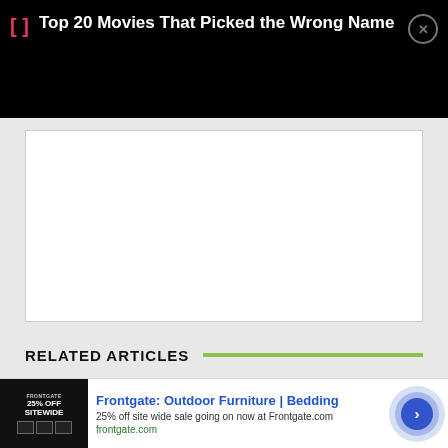[Figure (screenshot): Black notification bar with pink bracket icon, white text 'Top 20 Movies That Picked the Wrong Name', and a circular close (X) button on the right]
[Figure (screenshot): White content box on light gray background, mostly blank]
RELATED ARTICLES
[Figure (screenshot): Advertisement banner: Frontgate outdoor furniture sale. Shows 25% off sitewide sale image on left, ad text in center, and animated arrow button on right. AdChoices icon visible. Close X button at top right.]